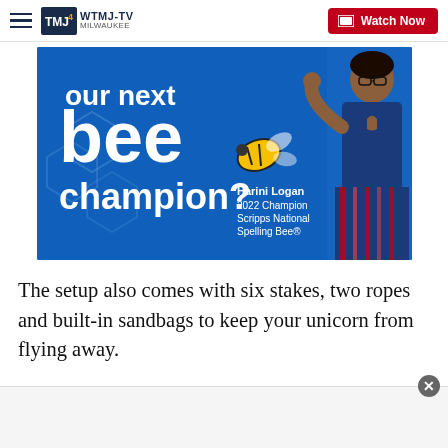WTMJ-TV Milwaukee — Watch Now
[Figure (photo): Scripps National Spelling Bee advertisement showing Harini Logan, 2022 Champion, with text 'our next bee champion?' on a blue background with bee graphic]
The setup also comes with six stakes, two ropes and built-in sandbags to keep your unicorn from flying away.